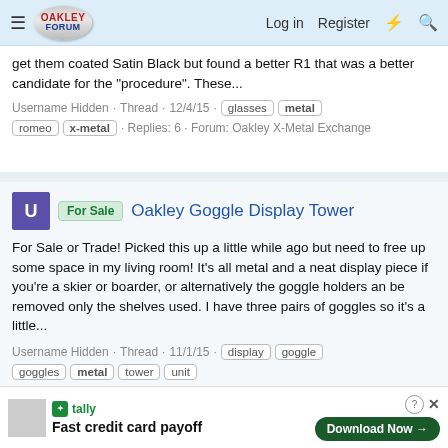Oakley Forum — Log in | Register
get them coated Satin Black but found a better R1 that was a better candidate for the "procedure". These...
Username Hidden · Thread · 12/4/15 · glasses metal romeo x-metal · Replies: 6 · Forum: Oakley X-Metal Exchange
For Sale — Oakley Goggle Display Tower
For Sale or Trade! Picked this up a little while ago but need to free up some space in my living room! It's all metal and a neat display piece if you're a skier or boarder, or alternatively the goggle holders an be removed only the shelves used. I have three pairs of goggles so it's a little...
Username Hidden · Thread · 11/1/15 · display goggle goggles metal tower unit · Replies: 1 · Forum: Misc. Oakley Exchange
Tally — Fast credit card payoff — Download Now